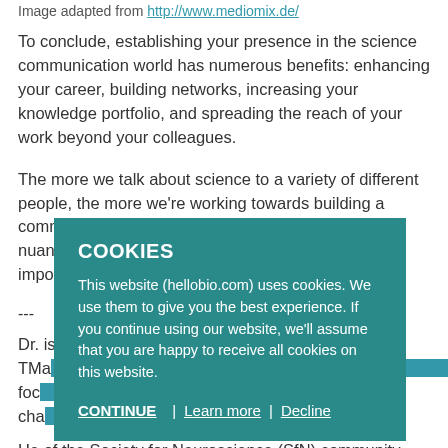Image adapted from http://www.mediomix.de/
To conclude, establishing your presence in the science communication world has numerous benefits: enhancing your career, building networks, increasing your knowledge portfolio, and spreading the reach of your work beyond your colleagues.
The more we talk about science to a variety of different people, the more we're working towards building a community that helps non-scientists understand the nuances and complexities of science and its importance.
---
Dr. [name] is a postdoctoral fellow at the University of T[oronto]. Ma[...] the [...] research focus [...] ait cha[...]
He [...] of the [SfN] Society for Neuroscience (SfN) community leader. Outside of research, his interests are photography, traveling, and science
[Figure (screenshot): Cookie consent overlay banner with teal background. Title: COOKIES. Body text: This website (hellobio.com) uses cookies. We use them to give you the best experience. If you continue using our website, we'll assume that you are happy to receive all cookies on this website. Buttons: CONTINUE | Learn more | Decline]